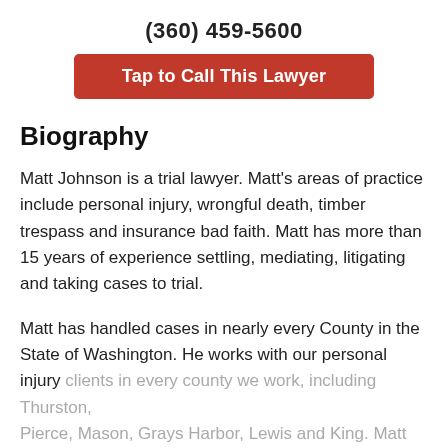(360) 459-5600
Tap to Call This Lawyer
Biography
Matt Johnson is a trial lawyer. Matt's areas of practice include personal injury, wrongful death, timber trespass and insurance bad faith. Matt has more than 15 years of experience settling, mediating, litigating and taking cases to trial.
Matt has handled cases in nearly every County in the State of Washington. He works with our personal injury clients in every county we work, including Thurston, Pierce, Mason, Grays Harbor, Lewis and King. Matt works
View More ›